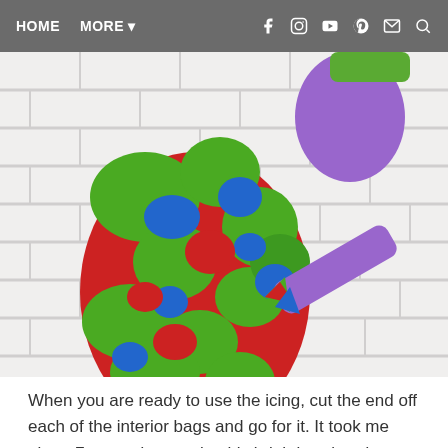HOME   MORE ▾   [social icons]
[Figure (photo): A brightly colored camouflage Easter egg cookie decorated with green, red, and blue icing blobs on a white brick background, with a purple icing bottle in the upper right.]
When you are ready to use the icing, cut the end off each of the interior bags and go for it. It took me about 7 seconds to make this brightly colored camouflage egg cookie. Although… I can't for the
life of me come up with a scenario where a person would need a brightly colored camouflage egg